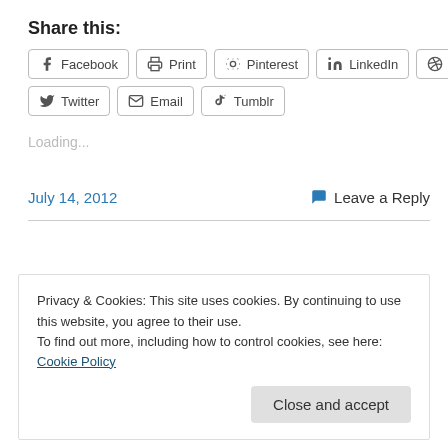Share this:
Facebook  Print  Pinterest  LinkedIn  Reddit
Twitter  Email  Tumblr
Loading...
July 14, 2012
Leave a Reply
Privacy & Cookies: This site uses cookies. By continuing to use this website, you agree to their use.
To find out more, including how to control cookies, see here: Cookie Policy
Close and accept